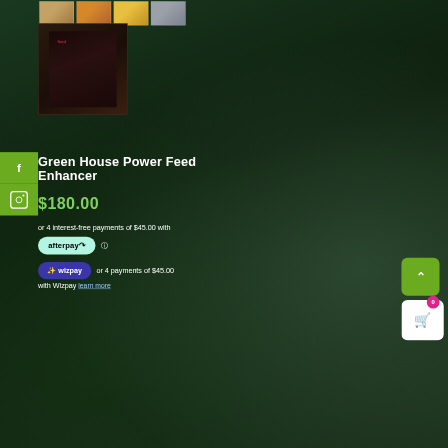[Figure (screenshot): E-commerce product page for Green House Power Feed Enhancer showing product thumbnails, product image, price, Afterpay and Wizpay payment options, social media sidebar, and cart widget.]
Green House Power Feed Enhancer
$180.00
or 4 interest-free payments of $45.00 with afterpay
or 4 payments of $45.00 with Wizpay learn more